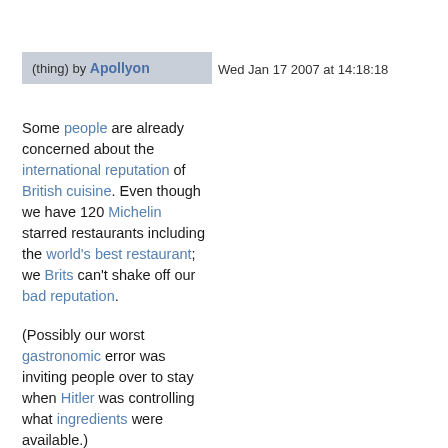(thing) by Apollyon Wed Jan 17 2007 at 14:18:18
Some people are already concerned about the international reputation of British cuisine. Even though we have 120 Michelin starred restaurants including the world's best restaurant; we Brits can't shake off our bad reputation.
(Possibly our worst gastronomic error was inviting people over to stay when Hitler was controlling what ingredients were available.)
However I am not writing to defend English cuisine, on the...